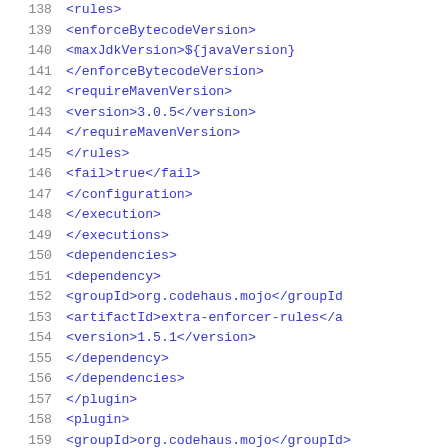[Figure (screenshot): XML/Maven POM file code snippet showing lines 138-159, with line numbers on the left in gray and XML code in blue monospace font. Content includes rules, enforceBytecodeVersion, maxJdkVersion, requireMavenVersion, version, fail, configuration, execution, executions, dependencies, dependency, groupId, artifactId, version, and plugin tags.]